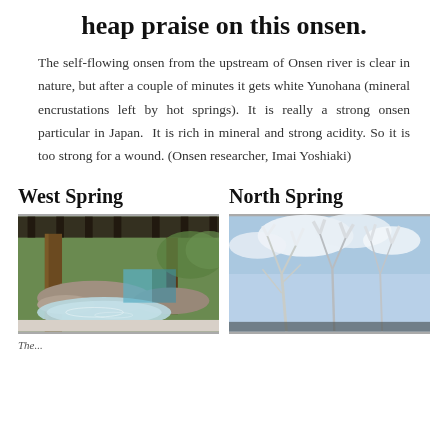heap praise on this onsen.
The self-flowing onsen from the upstream of Onsen river is clear in nature, but after a couple of minutes it gets white Yunohana (mineral encrustations left by hot springs). It is really a strong onsen particular in Japan. It is rich in mineral and strong acidity. So it is too strong for a wound. (Onsen researcher, Imai Yoshiaki)
West Spring
[Figure (photo): Outdoor hot spring bath with wooden posts, rocks, and steaming water surrounded by greenery]
North Spring
[Figure (photo): Winter scene with snow-frosted tree branches against a blue sky]
The...